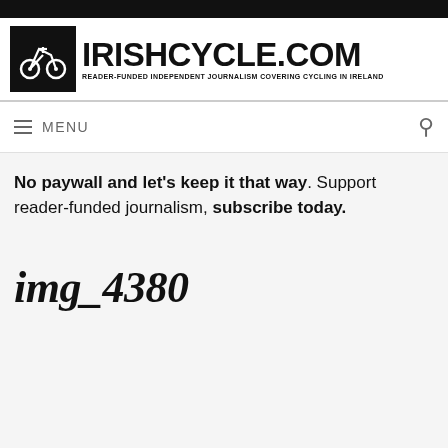IRISHCYCLE.COM – READER-FUNDED INDEPENDENT JOURNALISM COVERING CYCLING IN IRELAND
≡ MENU
No paywall and let's keep it that way. Support reader-funded journalism, subscribe today.
img_4380